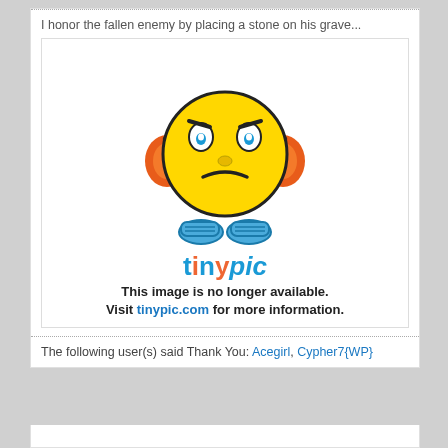I honor the fallen enemy by placing a stone on his grave...
[Figure (illustration): Tinypic broken image placeholder: a sad yellow smiley face emoji with orange headphones and blue shoes, above the tinypic.com logo. Text reads: 'This image is no longer available. Visit tinypic.com for more information.']
The following user(s) said Thank You: Acegirl, Cypher7{WP}